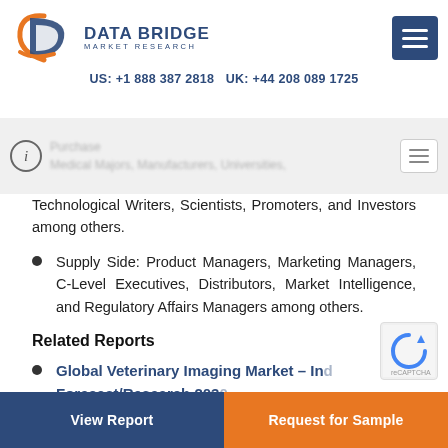DATA BRIDGE MARKET RESEARCH — US: +1 888 387 2818 UK: +44 208 089 1725
Technological Writers, Scientists, Promoters, and Investors among others.
Supply Side: Product Managers, Marketing Managers, C-Level Executives, Distributors, Market Intelligence, and Regulatory Affairs Managers among others.
Related Reports
Global Veterinary Imaging Market – Ind... Forecast/Research 2030